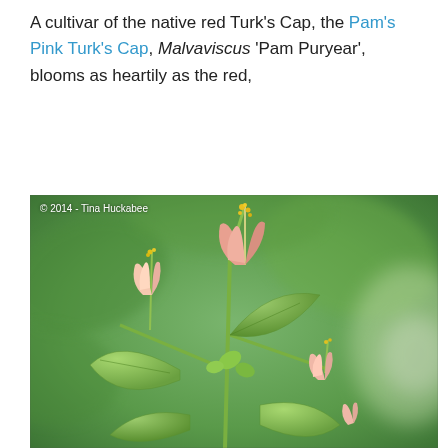A cultivar of the native red Turk's Cap, the Pam's Pink Turk's Cap, Malvaviscus 'Pam Puryear', blooms as heartily as the red,
[Figure (photo): Close-up photograph of Pam's Pink Turk's Cap (Malvaviscus 'Pam Puryear') plant showing pink flower buds and green leaves against a blurred green background. Copyright 2014 - Tina Huckabee.]